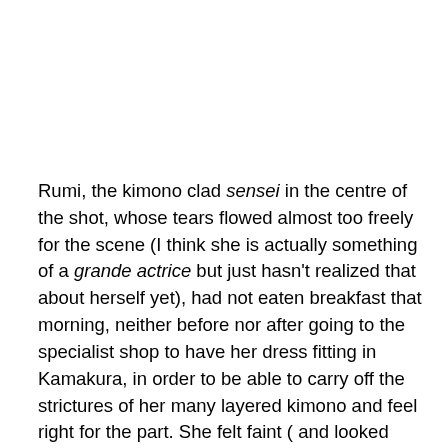Rumi, the kimono clad sensei in the centre of the shot, whose tears flowed almost too freely for the scene (I think she is actually something of a grande actrice but just hasn't realized that about herself yet), had not eaten breakfast that morning, neither before nor after going to the specialist shop to have her dress fitting in Kamakura, in order to be able to carry off the strictures of her many layered kimono and feel right for the part. She felt faint ( and looked very pale ) when we all met at Kamakura station, just managing a small energy drink through a